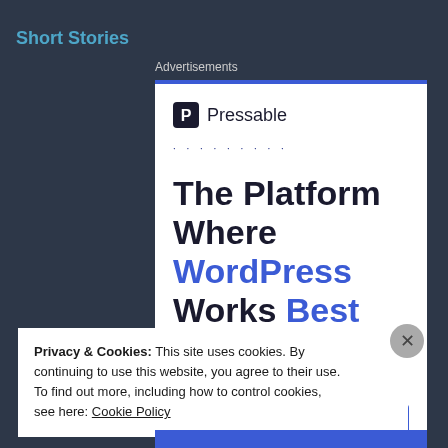Short Stories
Advertisements
[Figure (screenshot): Pressable advertisement: logo with 'P' icon and 'Pressable' text, dotted line, large headline 'The Platform Where WordPress Works Best' with WordPress in blue, and a blue 'SEE PRICING' button. REPORT THIS AD text at bottom right.]
Privacy & Cookies: This site uses cookies. By continuing to use this website, you agree to their use.
To find out more, including how to control cookies, see here: Cookie Policy
Close and accept